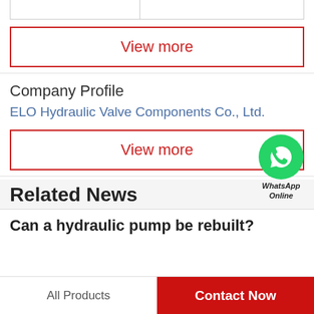|  |  |
View more
Company Profile
ELO Hydraulic Valve Components Co., Ltd.
View more
[Figure (logo): WhatsApp Online button with green phone icon circle]
Related News
Can a hydraulic pump be rebuilt?
All Products   Contact Now